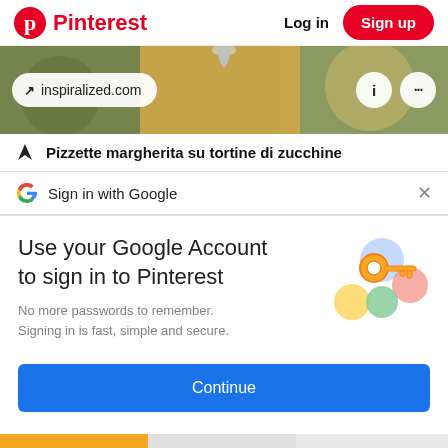Pinterest  Log in  Sign up
[Figure (screenshot): Food image background with URL pill showing 'inspiralized.com', info button (i), and more options button (...)]
Pizzette margherita su tortine di zucchine
Sign in with Google
Use your Google Account to sign in to Pinterest
No more passwords to remember. Signing in is fast, simple and secure.
[Figure (illustration): Google key illustration with colorful circles and a golden key]
Continue